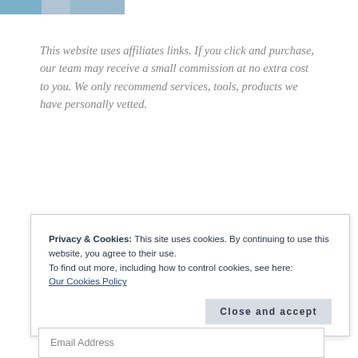[Logo/header bar with colored segments]
This website uses affiliates links. If you click and purchase, our team may receive a small commission at no extra cost to you. We only recommend services, tools, products we have personally vetted.
Privacy & Cookies: This site uses cookies. By continuing to use this website, you agree to their use.
To find out more, including how to control cookies, see here:
Our Cookies Policy
Close and accept
Email Address